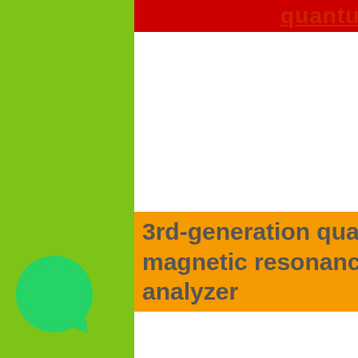quantum analyzer
3rd-generation quantum magnetic resonance health analyzer
[Figure (logo): WhatsApp logo icon — green circle with white phone handset]